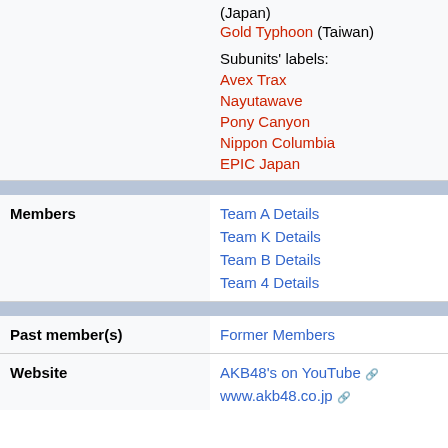|  | (Japan)
Gold Typhoon (Taiwan)

Subunits' labels:
Avex Trax
Nayutawave
Pony Canyon
Nippon Columbia
EPIC Japan |
| Members | Team A Details
Team K Details
Team B Details
Team 4 Details |
| Past member(s) | Former Members |
| Website | AKB48's on YouTube
www.akb48.co.jp |